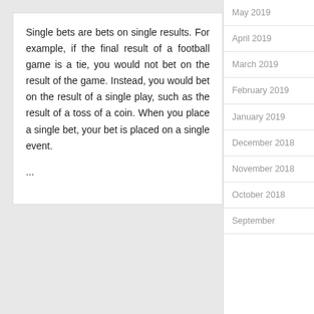Single bets are bets on single results. For example, if the final result of a football game is a tie, you would not bet on the result of the game. Instead, you would bet on the result of a single play, such as the result of a toss of a coin. When you place a single bet, your bet is placed on a single event.
...
May 2019
April 2019
March 2019
February 2019
January 2019
December 2018
November 2018
October 2018
September